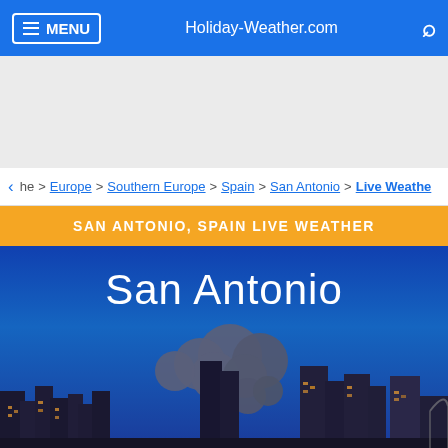MENU | Holiday-Weather.com | [search]
he > Europe > Southern Europe > Spain > San Antonio > Live Weathe
SAN ANTONIO, SPAIN LIVE WEATHER
[Figure (photo): San Antonio city skyline at night with blue sky background, overcast/cloudy weather icon overlay showing grey clouds, city text 'San Antonio' displayed prominently in white]